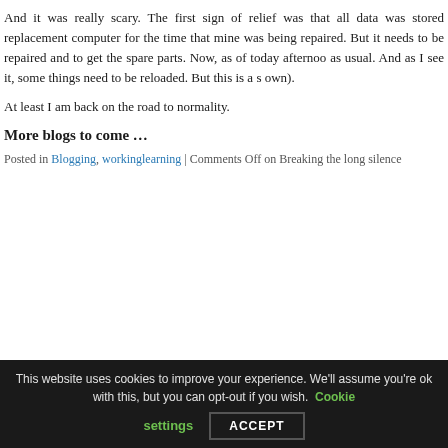And it was really scary. The first sign of relief was that all data was stored replacement computer for the time that mine was being repaired. But it needs to be repaired and to get the spare parts. Now, as of today afternoon as usual. And as I see it, some things need to be reloaded. But this is a s own).
At least I am back on the road to normality.
More blogs to come …
Posted in Blogging, workinglearning | Comments Off on Breaking the long silence
This website uses cookies to improve your experience. We'll assume you're ok with this, but you can opt-out if you wish. Cookie settings ACCEPT